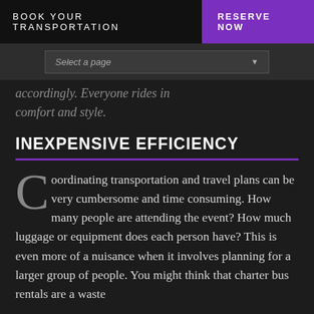BOOK YOUR TRANSPORTATION   RESERVE NOW
accordingly. Everyone rides in comfort and style.
INEXPENSIVE EFFICIENCY
Coordinating transportation and travel plans can be very cumbersome and time consuming. How many people are attending the event? How much luggage or equipment does each person have? This is even more of a nuisance when it involves planning for a larger group of people. You might think that charter bus rentals are a waste